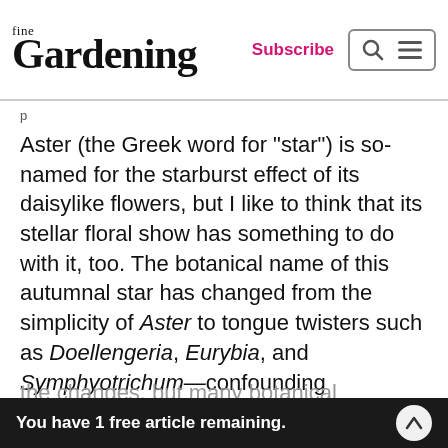fine Gardening | Subscribe
Aster (the Greek word for “star”) is so-named for the starburst effect of its daisylike flowers, but I like to think that its stellar floral show has something to do with it, too. The botanical name of this autumnal star has changed from the simplicity of Aster to tongue twisters such as Doellengeria, Eurybia, and Symphyotrichum—confounding gardeners and professionals alike. Complicating matters a bit, the new names have not been universally embraced; the Royal Horticultural Society, for one, has not yet adopted the changes, but many botanical gardens, native the switch. Possibly more important the…
You have 1 free article remaining.